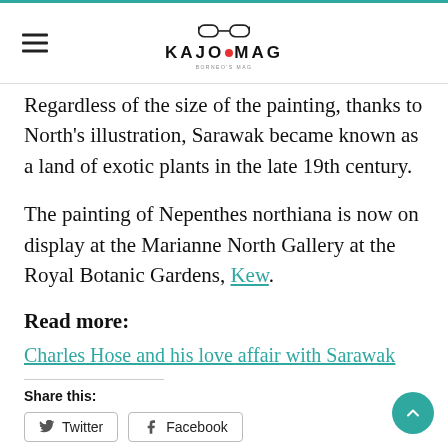KAJOMAG
Regardless of the size of the painting, thanks to North's illustration, Sarawak became known as a land of exotic plants in the late 19th century.
The painting of Nepenthes northiana is now on display at the Marianne North Gallery at the Royal Botanic Gardens, Kew.
Read more:
Charles Hose and his love affair with Sarawak
Share this:
Twitter  Facebook